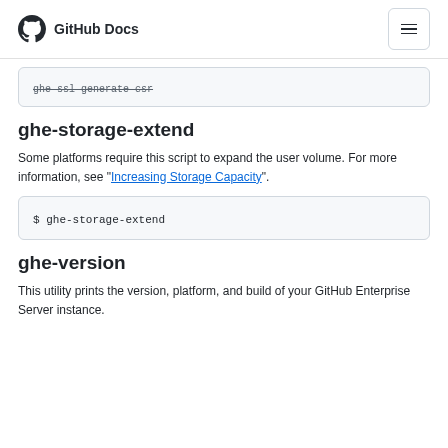GitHub Docs
ghe-ssl-generate-csr
ghe-storage-extend
Some platforms require this script to expand the user volume. For more information, see "Increasing Storage Capacity".
$ ghe-storage-extend
ghe-version
This utility prints the version, platform, and build of your GitHub Enterprise Server instance.